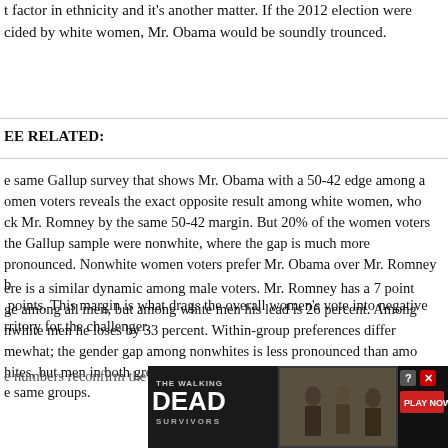t factor in ethnicity and it's another matter. If the 2012 election were cided by white women, Mr. Obama would be soundly trounced.
EE RELATED:
e same Gallup survey that shows Mr. Obama with a 50-42 edge among a omen voters reveals the exact opposite result among white women, who ck Mr. Romney by the same 50-42 margin. But 20% of the women voters the Gallup sample were nonwhite, where the gap is much more pronounced. Nonwhite women voters prefer Mr. Obama over Mr. Romney b points. This margin is what drags the overall women's vote into negative rritory for the challenger.
ere is a similar dynamic among male voters. Mr. Romney has a 7 point ge among all men, but among white men his lead is 26 percent. Among nwhite men he loses by 33 percent. Within-group preferences differ mewhat; the gender gap among nonwhites is less pronounced than amo hites, but men in both groups support Mr. Romney more than women do i e same groups.
e numbers reconfirm the fact that Mr. Obama hasn't helped bring about
[Figure (photo): Advertisement banner for The Walking Dead: Survivors mobile game with a Play Now button and close/help icons.]